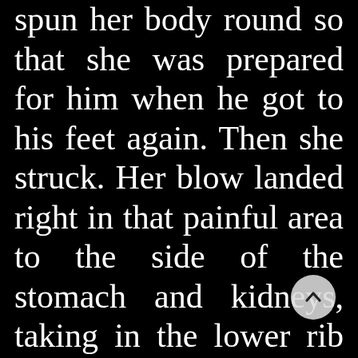spun her body round so that she was prepared for him when he got to his feet again. Then she struck. Her blow landed right in that painful area to the side of the stomach and kidneys, taking in the lower rib cage. It was a firm, strong punch, but at the same time it was controlled, with none of the wild…